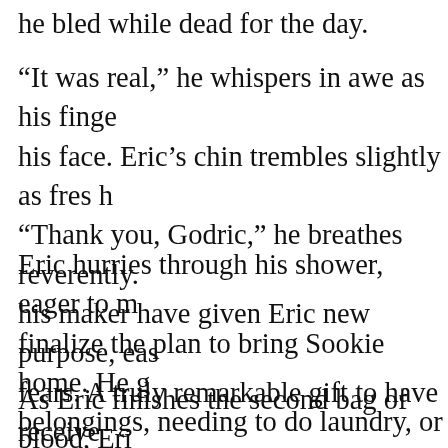he bled while dead for the day.
“It was real,” he whispers in awe as his fingers trace his face. Eric’s chin trembles slightly as fresh “Thank you, Godric,” he breathes reverently. his maker have given Eric new purpose, eas fears. A truly remarkable gift to have receive
Eric hurries through his shower, eager to m finalize the plan to bring Sookie home. He g belongings, needing to do laundry, or else h more clothes. Once that chore is complete, two bags of blood for himself. He needs to b fight the upcoming battle. He cannot afforo survival depends on him.
As Eric finishes the second bag of blood, Eri unmistakable sounds of his namesake mak Willa’s quarters. The vampire moves to on